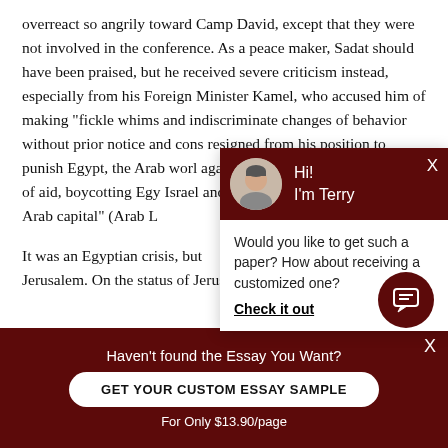overreact so angrily toward Camp David, except that they were not involved in the conference. As a peace maker, Sadat should have been praised, but he received severe criticism instead, especially from his Foreign Minister Kamel, who accused him of making “fickle whims and indiscriminate changes of behavior without prior notice and cons… resigned from his position to… punish Egypt, the Arab worl… against Egypt,â¦including cu… cutting of aid, boycotting Egy… Israel and moving the organi… another Arab capital” (Arab L…
It was an Egyptian crisis, but… Jerusalem. On the status of Jerusalem, Hedrick Smith w…
[Figure (screenshot): Chat popup with avatar of person named Terry on dark red background. Body text: 'Would you like to get such a paper? How about receiving a customized one?' with 'Check it out' link.]
Haven't found the Essay You Want?
GET YOUR CUSTOM ESSAY SAMPLE
For Only $13.90/page